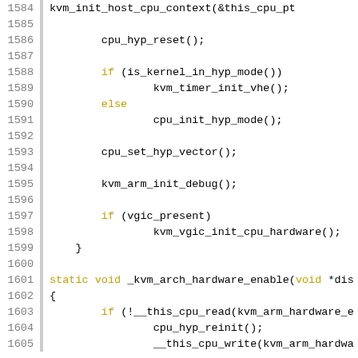[Figure (screenshot): Source code listing showing C/kernel code lines 1584-1605 with syntax highlighting. Line numbers in gray on left, keywords in yellow/gold, function calls in black monospace font on white background.]